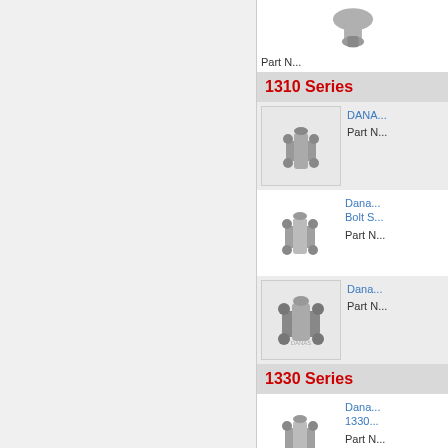[Figure (photo): Top yoke/flange part photo, partially cut off at top]
Part N...
1310 Series
[Figure (photo): DANA yoke part with four-bolt pattern, shaded background]
DANA...
Part N...
[Figure (photo): Dana yoke part - Bolt S...]
Dana... Bolt S...
Part N...
[Figure (photo): Dana large yoke part, shaded background]
Dana...
Part N...
1330 Series
[Figure (photo): Dana 1330 series yoke with O-ring]
Dana... 1330...
Part N...
[Figure (photo): 6258... spline... yoke part, shaded background]
6258... spline...